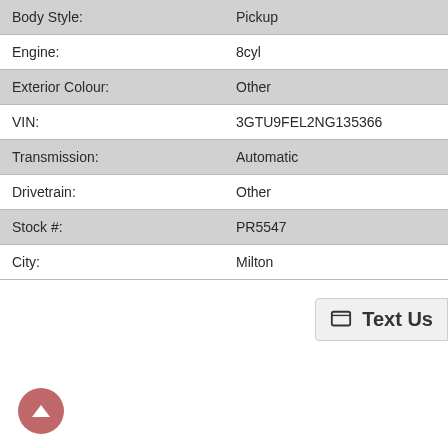| Field | Value |
| --- | --- |
| Body Style: | Pickup |
| Engine: | 8cyl |
| Exterior Colour: | Other |
| VIN: | 3GTU9FEL2NG135366 |
| Transmission: | Automatic |
| Drivetrain: | Other |
| Stock #: | PR5547 |
| City: | Milton |
Text Us
WALLACE CHEVY
THIS ONE OWNER, ACCIDENT
- REMOTE KEYLESS ENTRY
- REMOTE VEHICLE START
- POWER SLIDING REAR WIND
- POWER SUNROOF
- POWER OUTSIDE MIRRORS
Selena
Operator
WALLACE CADILLAC
Selena: Hi, welcome to Wallace Cadillac website. How can we assist you today?
Type here...
Powered By: LiveAdmins